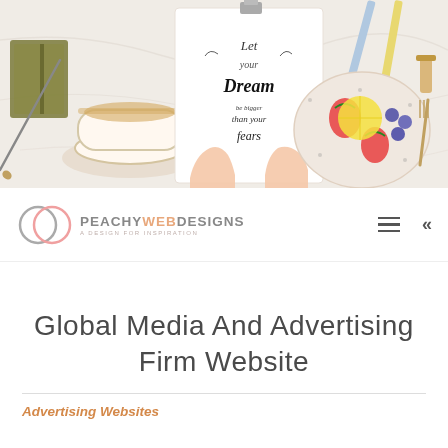[Figure (photo): Overhead flat-lay photo showing hands holding a calligraphy paper with motivational text 'Let your dream be bigger than your fears', surrounded by a tea cup, notebook, pencils, and a plate with fruits on a marble surface]
[Figure (logo): Peachy Web Designs logo — two overlapping circles (peach/pink and grey) with text PEACHY WEB DESIGNS and tagline 'A design for inspiration']
Global Media And Advertising Firm Website
Advertising Websites